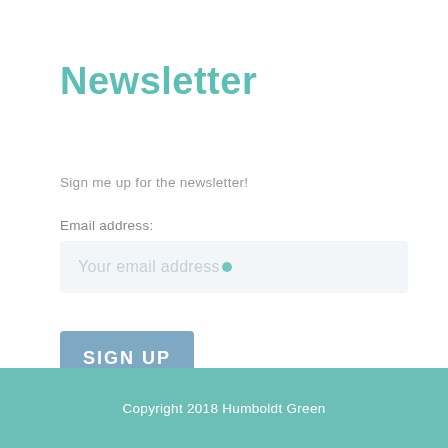Newsletter
Sign me up for the newsletter!
Email address:
Your email address
SIGN UP
Copyright 2018 Humboldt Green